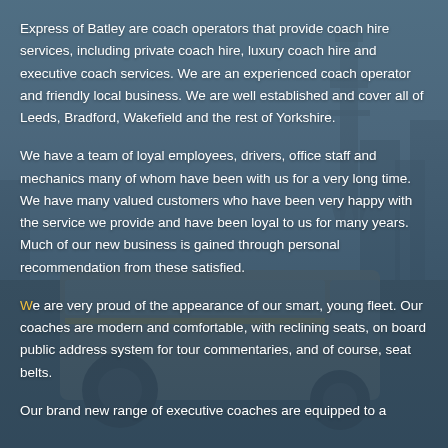[Figure (photo): Background photo of a coach/van in the foreground with a cityscape including a tower (resembling Blackpool Tower) in the background, overlaid with a semi-transparent blue-grey tint.]
Express of Batley are coach operators that provide coach hire services, including private coach hire, luxury coach hire and executive coach services. We are an experienced coach operator and friendly local business. We are well established and cover all of Leeds, Bradford, Wakefield and the rest of Yorkshire.
We have a team of loyal employees, drivers, office staff and mechanics many of whom have been with us for a very long time. We have many valued customers who have been very happy with the service we provide and have been loyal to us for many years. Much of our new business is gained through personal recommendation from these satisfied.
We are very proud of the appearance of our smart, young fleet. Our coaches are modern and comfortable, with reclining seats, on board public address system for tour commentaries, and of course, seat belts.
Our brand new range of executive coaches are equipped to a...